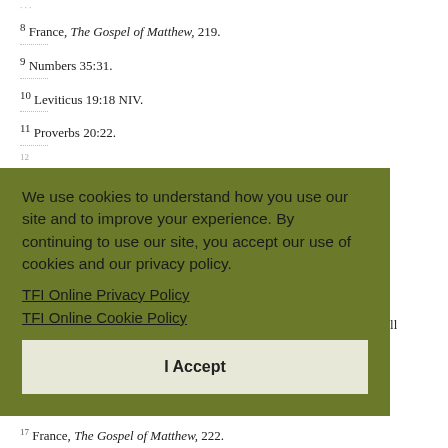8 France, The Gospel of Matthew, 219.
9 Numbers 35:31.
10 Leviticus 19:18 NIV.
11 Proverbs 20:22.
We use cookies to understand how you use our site and to improve your experience. By continuing to use our site, you accept our use of cookies and our privacy policy.
TFI Online Privacy Policy
TFI Online Cookie Policy
I Accept
you shall st from eturn it nd it is s to me,
17 France, The Gospel of Matthew, 222.